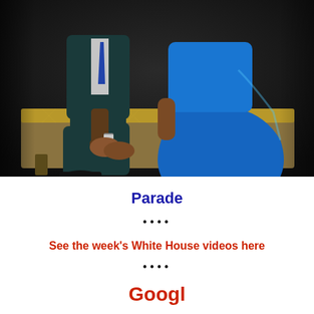[Figure (photo): A couple seated on an ornate gold-patterned bench/sofa. The man wears a dark teal suit and black dress shoes, and the woman wears a bright royal blue dress. They are holding hands. The background is dark.]
Parade
••••
See the week's White House videos here
••••
Googl